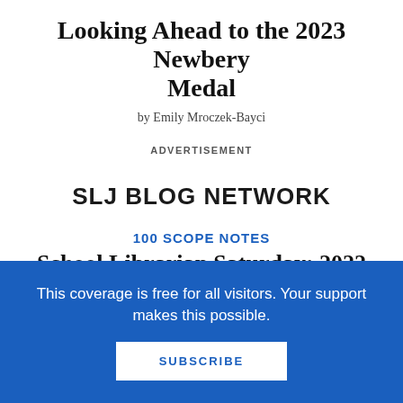Looking Ahead to the 2023 Newbery Medal
by Emily Mroczek-Bayci
ADVERTISEMENT
SLJ BLOG NETWORK
100 SCOPE NOTES
School Librarian Saturday: 2022 Notable Children's Digital Media List
This coverage is free for all visitors. Your support makes this possible.
SUBSCRIBE